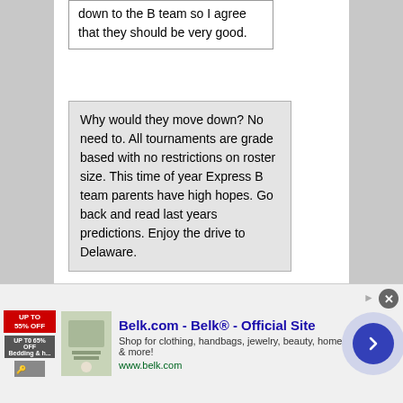down to the B team so I agree that they should be very good.
Why would they move down? No need to. All tournaments are grade based with no restrictions on roster size. This time of year Express B team parents have high hopes. Go back and read last years predictions. Enjoy the drive to Delaware.
Express 2026 CoachC is getting a handful of re-classed players. They are going to displace a handful of current 2026 players. They either go down or move on. Not a hard concept. 91 is doing the same thing. Nothing to do with B team parents. It has to do with 2025 kids moving down and taking spots.
[Figure (other): Advertisement banner for Belk.com - Belk Official Site showing clothing, handbags, jewelry, beauty home and more. URL: www.belk.com. Includes close button and navigation arrow.]